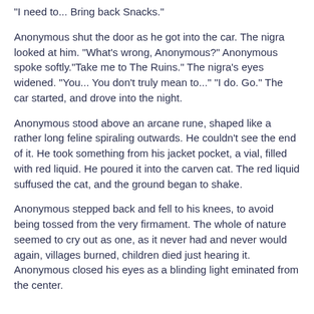"I need to... Bring back Snacks."
Anonymous shut the door as he got into the car. The nigra looked at him. "What's wrong, Anonymous?" Anonymous spoke softly."Take me to The Ruins." The nigra's eyes widened. "You... You don't truly mean to..." "I do. Go." The car started, and drove into the night.
Anonymous stood above an arcane rune, shaped like a rather long feline spiraling outwards. He couldn't see the end of it. He took something from his jacket pocket, a vial, filled with red liquid. He poured it into the carven cat. The red liquid suffused the cat, and the ground began to shake.
Anonymous stepped back and fell to his knees, to avoid being tossed from the very firmament. The whole of nature seemed to cry out as one, as it never had and never would again, villages burned, children died just hearing it. Anonymous closed his eyes as a blinding light eminated from the center.